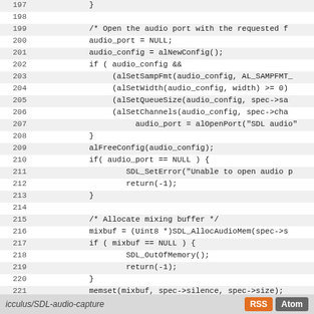[Figure (screenshot): Source code viewer showing C code lines 197-225 with alternating row shading and line numbers]
icculus/SDL-audio-capture  RSS  Atom